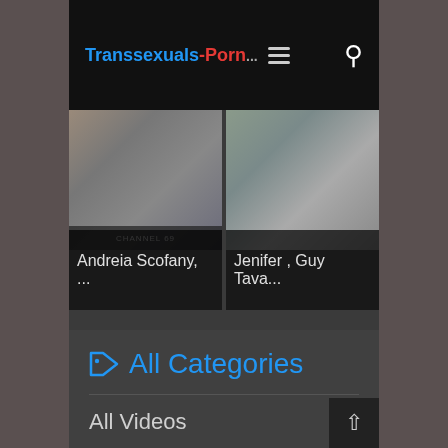Transsexuals-Porn...
[Figure (screenshot): Two video thumbnail cards: 'Andreia Scofany, ...' and 'Jenifer , Guy Tava...']
All Categories
All Videos
Movies
Amateur
Anal
Asian
Bareback